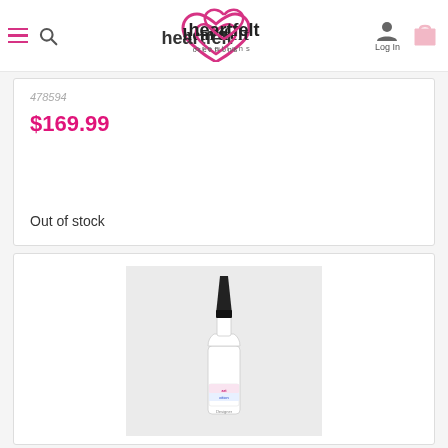heartfelt creations — Log In
478594
$169.99
Out of stock
[Figure (photo): A small bottle of glue/adhesive product with a black pointed tip cap, white body with a colorful label reading 'Art of Ition', displayed on a light gray background.]